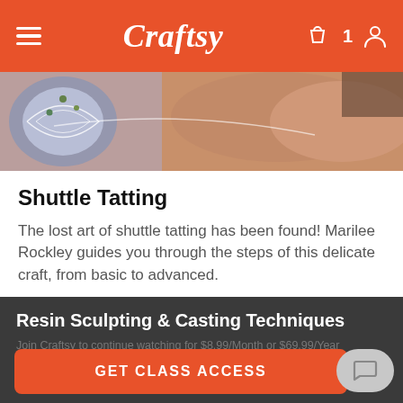Craftsy
[Figure (photo): Close-up of hands doing shuttle tatting lace craft, showing intricate blue and white lace pattern with beads]
Shuttle Tatting
The lost art of shuttle tatting has been found! Marilee Rockley guides you through the steps of this delicate craft, from basic to advanced.
Resin Sculpting & Casting Techniques
Join Craftsy to continue watching for $8.99/Month or $69.99/Year
Simply purchase the individual class for $39.95
GET CLASS ACCESS